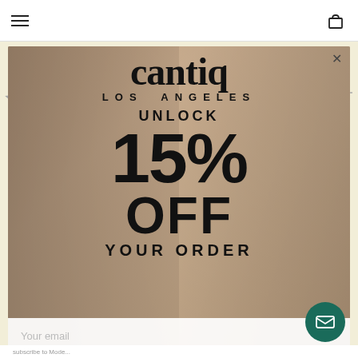Navigation bar with hamburger menu and cart icon
[Figure (photo): Cantiq Los Angeles brand promotional popup/modal showing a couple in the background. Bold text overlay reads: UNLOCK 15% OFF YOUR ORDER. Email input field at bottom. Dark teal envelope button at bottom right. Close X button at top right of modal.]
cantiq
LOS ANGELES
UNLOCK
15%
OFF
YOUR ORDER
Your email